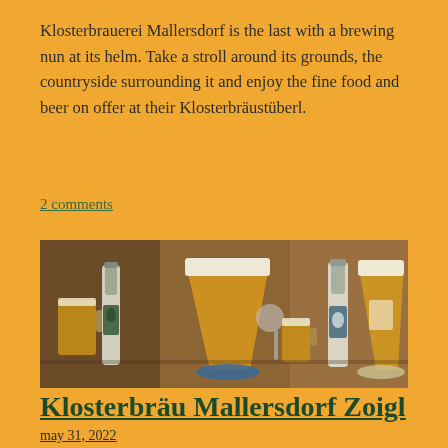Klosterbrauerei Mallersdorf is the last with a brewing nun at its helm. Take a stroll around its grounds, the countryside surrounding it and enjoy the fine food and beer on offer at their Klosterbräustüberl.
2 comments
[Figure (photo): Photo of beer bottles and glasses on a wooden table, showing monastery beer from Klosterbrauerei Mallersdorf, with coasters and spoon visible.]
Klosterbräu Mallersdorf Zoigl
may 31, 2022